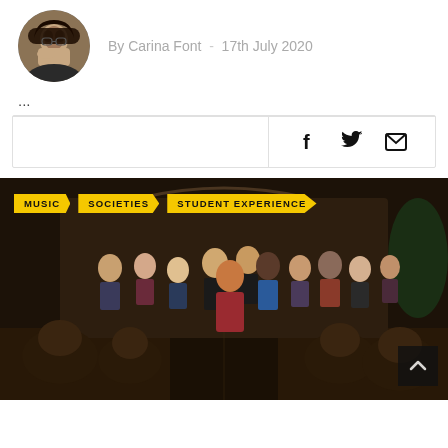[Figure (photo): Circular avatar photo of author Carina Font, a young woman with glasses resting her chin on her hand]
By Carina Font  -  17th July 2020
...
[Figure (illustration): Social sharing icons: Facebook (f), Twitter bird, and envelope/email icon]
[Figure (photo): A choral group performing in a church or auditorium setting, with singers standing in a semi-circle and an audience visible in the foreground. Three yellow tags at the top: MUSIC, SOCIETIES, STUDENT EXPERIENCE]